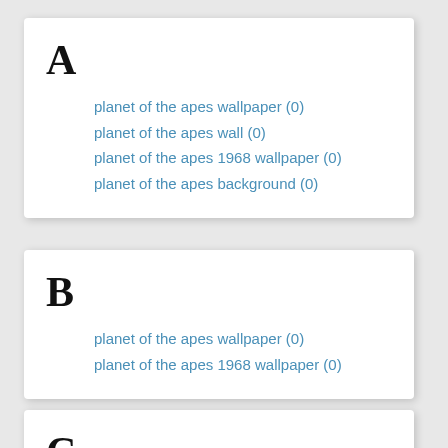A
planet of the apes wallpaper (0)
planet of the apes wall (0)
planet of the apes 1968 wallpaper (0)
planet of the apes background (0)
B
planet of the apes wallpaper (0)
planet of the apes 1968 wallpaper (0)
C